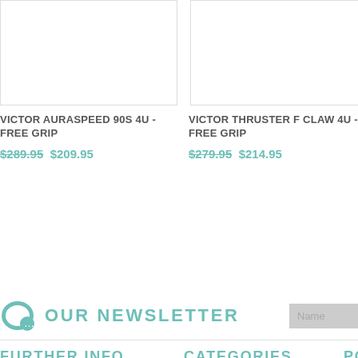[Figure (photo): Product image placeholder for VICTOR AURASPEED 90S 4U (left column)]
VICTOR AURASPEED 90S 4U - FREE GRIP
$289.95 $209.95
[Figure (photo): Product image placeholder for VICTOR THRUSTER F CLAW 4U (middle column)]
VICTOR THRUSTER F CLAW 4U - FREE GRIP
$279.95 $214.95
[Figure (photo): Product image placeholder for VICTOR (right column, partially visible)]
VICTOR ... FREE GR...
$199.95
OUR NEWSLETTER
FURTHER INFO
CATEGORIES
POPU...
→ Home
→ About Us
→ Racquets
→ Shuttlecocks
→ Yonex
→ Ashawa...